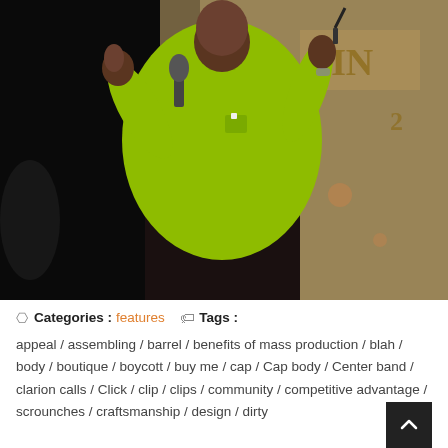[Figure (photo): A man in a bright yellow-green shirt holding a microphone and a pen, speaking or presenting on a stage with a dark background and a banner visible behind him.]
Categories : features   Tags : appeal / assembling / barrel / benefits of mass production / blah / body / boutique / boycott / buy me / cap / Cap body / Center band / clarion calls / Click / clip / clips / community / competitive advantage / scrounches / craftsmanship / design / dirty